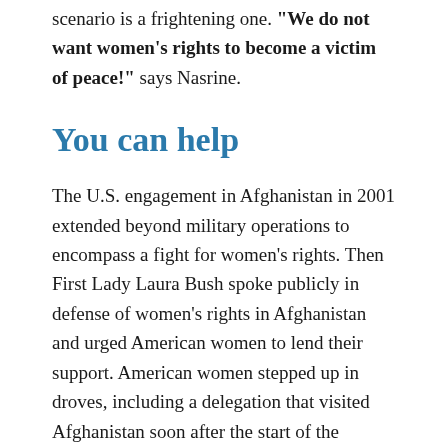scenario is a frightening one. "We do not want women's rights to become a victim of peace!" says Nasrine.
You can help
The U.S. engagement in Afghanistan in 2001 extended beyond military operations to encompass a fight for women's rights. Then First Lady Laura Bush spoke publicly in defense of women's rights in Afghanistan and urged American women to lend their support. American women stepped up in droves, including a delegation that visited Afghanistan soon after the start of the military operation to better understand the horrendous treatment and abuse